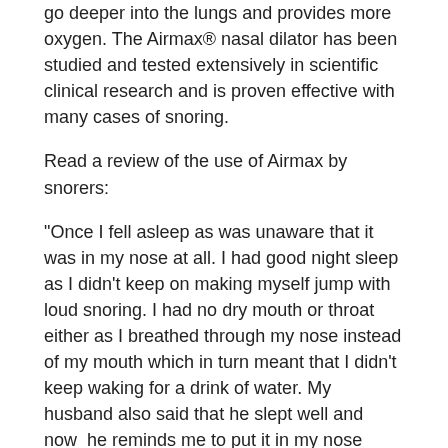go deeper into the lungs and provides more oxygen. The Airmax® nasal dilator has been studied and tested extensively in scientific clinical research and is proven effective with many cases of snoring.
Read a review of the use of Airmax by snorers:
"Once I fell asleep as was unaware that it was in my nose at all. I had good night sleep as I didn't keep on making myself jump with loud snoring. I had no dry mouth or throat either as I breathed through my nose instead of my mouth which in turn meant that I didn't keep waking for a drink of water. My husband also said that he slept well and now  he reminds me to put it in my nose before I go to bed. It works better than any sprays, nose plasters ect. so I would say if you have a snorer in the house, try it! It works for me."
Airmax® And Obstructive Sleep Apnoea
Airmax® helps people with a mild form of sleep apnoea